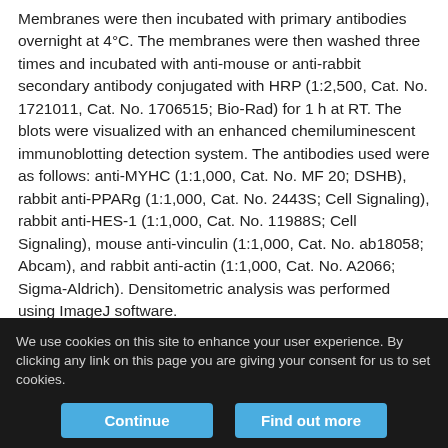Membranes were then incubated with primary antibodies overnight at 4°C. The membranes were then washed three times and incubated with anti-mouse or anti-rabbit secondary antibody conjugated with HRP (1:2,500, Cat. No. 1721011, Cat. No. 1706515; Bio-Rad) for 1 h at RT. The blots were visualized with an enhanced chemiluminescent immunoblotting detection system. The antibodies used were as follows: anti-MYHC (1:1,000, Cat. No. MF 20; DSHB), rabbit anti-PPARg (1:1,000, Cat. No. 2443S; Cell Signaling), rabbit anti-HES-1 (1:1,000, Cat. No. 11988S; Cell Signaling), mouse anti-vinculin (1:1,000, Cat. No. ab18058; Abcam), and rabbit anti-actin (1:1,000, Cat. No. A2066; Sigma-Aldrich). Densitometric analysis was performed using ImageJ software.
We use cookies on this site to enhance your user experience. By clicking any link on this page you are giving your consent for us to set cookies.